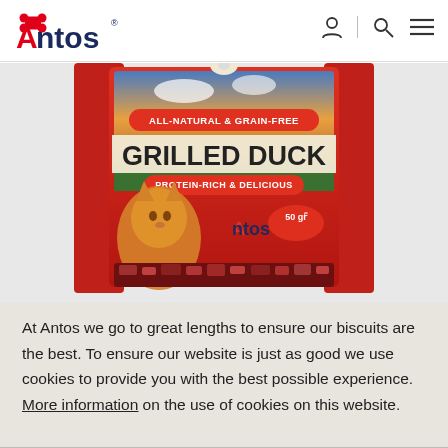[Figure (logo): Antos brand logo with red 'A' and bone icon, dark blue text]
[Figure (photo): Antos Grilled Duck cat treat product package, 50gr, featuring a cat and the text ALL-NATURAL & GRAIN-FREE, PROTEIN-RICH & DELICIOUS]
At Antos we go to great lengths to ensure our biscuits are the best. To ensure our website is just as good we use cookies to provide you with the best possible experience. More information on the use of cookies on this website.